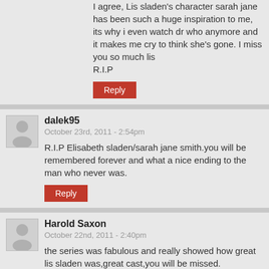I agree, Lis sladen's character sarah jane has been such a huge inspiration to me, its why i even watch dr who anymore and it makes me cry to think she's gone. I miss you so much lis
R.I.P
Reply
dalek95
October 23rd, 2011 - 2:54pm
R.I.P Elisabeth sladen/sarah jane smith.you will be remembered forever and what a nice ending to the man who never was.
Reply
Harold Saxon
October 22nd, 2011 - 2:40pm
the series was fabulous and really showed how great lis sladen was,great cast,you will be missed.
Reply